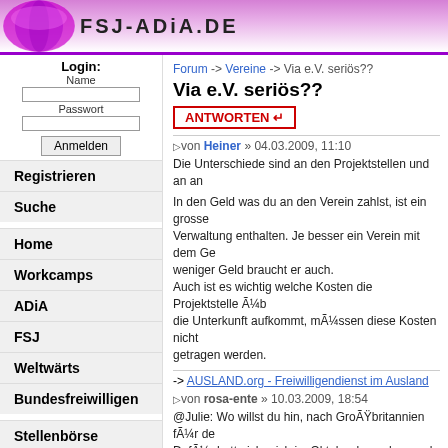FSJ-ADiA.DE
Login: Name Passwort Anmelden
Registrieren
Suche
Home
Workcamps
ADiA
FSJ
Weltwärts
Bundesfreiwilligen
Stellenbörse
Forum -> Vereine -> Via e.V. seriös??
Via e.V. seriös??
ANTWORTEN
von Heiner » 04.03.2009, 11:10
Die Unterschiede sind an den Projektstellen und an an
In den Geld was du an den Verein zahlst, ist ein grosse Verwaltung enthalten. Je besser ein Verein mit dem Ge weniger Geld braucht er auch. Auch ist es wichtig welche Kosten die Projektstelle übernimmt, müssen diese Kosten nicht getragen werden.
-> AUSLAND.org - Freiwilligendienst im Ausland
von rosa-ente » 10.03.2009, 18:54
@Julie: Wo willst du hin, nach Großbritannien für de Dafür hatte ich mich im Oktober beworben und hatte Interview mit CSV. Wenn du Fördergelder von der EU nichts bezahlen, dann wird dir alles bezahlt. Und einen auch nicht aufbauen. Ob dein Projekt allerdings gef